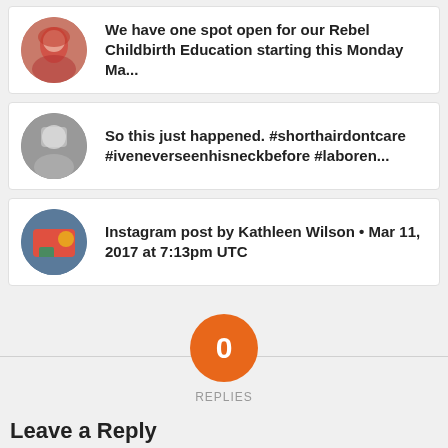We have one spot open for our Rebel Childbirth Education starting this Monday Ma...
So this just happened. #shorthairdontcare #iveneverseenhisneckbefore #laboren...
Instagram post by Kathleen Wilson • Mar 11, 2017 at 7:13pm UTC
0 REPLIES
Leave a Reply